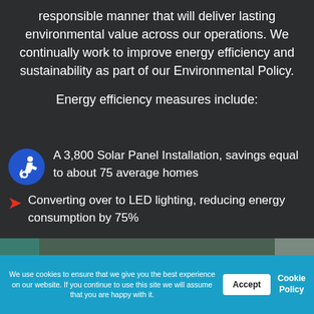responsible manner that will deliver lasting environmental value across our operations. We continually work to improve energy efficiency and sustainability as part of our Environmental Policy.
Energy efficiency measures include:
A 3,800 Solar Panel Installation, savings equal to about 75 average homes
Converting over to LED lighting, reducing energy consumption by 75%
We use cookies to ensure that we give you the best experience on our website. If you continue to use this site we will assume that you are happy with it.